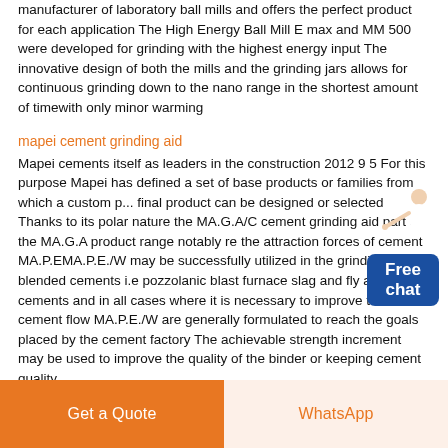manufacturer of laboratory ball mills and offers the perfect product for each application The High Energy Ball Mill E max and MM 500 were developed for grinding with the highest energy input The innovative design of both the mills and the grinding jars allows for continuous grinding down to the nano range in the shortest amount of timewith only minor warming
mapei cement grinding aid
Mapei cements itself as leaders in the construction 2012 9 5 For this purpose Mapei has defined a set of base products or families from which a custom final product can be designed or selected Thanks to its polar nature the MA.G.A/C cement grinding aid part of the MA.G.A product range notably re the attraction forces of cement MA.P.EMA.P.E./W may be successfully utilized in the grinding of blended cements i.e pozzolanic blast furnace slag and fly ash cements and in all cases where it is necessary to improve the cement flow MA.P.E./W are generally formulated to reach the goals placed by the cement factory The achievable strength increment may be used to improve the quality of the binder or keeping cement quality
grinding machines classified
How to Use a Surface Grinder Machine2019 11 20 From the simplest grinding machine to the most complex grinding machines can be classified as utility
[Figure (infographic): Free chat widget with person figure and blue button]
Get a Quote | WhatsApp